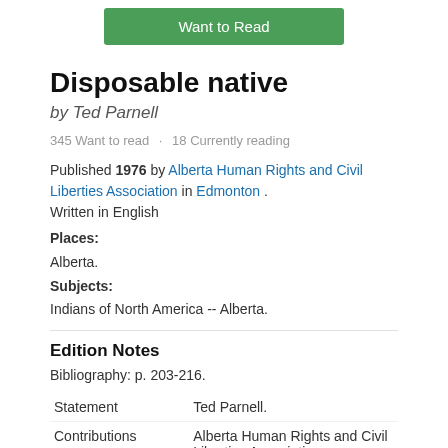[Figure (other): Green 'Want to Read' button]
Disposable native
by Ted Parnell
345 Want to read  ·  18 Currently reading
Published 1976 by Alberta Human Rights and Civil Liberties Association in Edmonton . Written in English
Places:
Alberta.
Subjects:
Indians of North America -- Alberta.
Edition Notes
Bibliography: p. 203-216.
|  |  |
| --- | --- |
| Statement | Ted Parnell. |
| Contributions | Alberta Human Rights and Civil Liberties Association. |